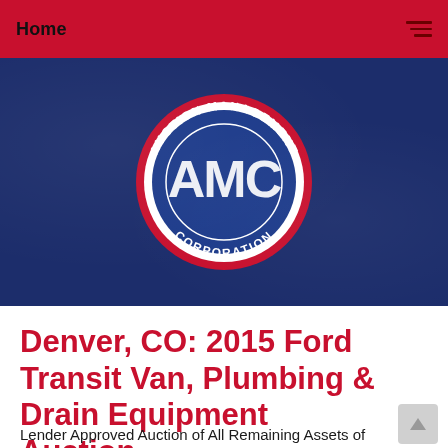Home
[Figure (logo): Auction Management Corporation (AMC) circular logo — red ring with white text reading AUCTION MANAGEMENT CORPORATION, inner blue circle with large white AMC letters, on a dark navy textured background]
Denver, CO: 2015 Ford Transit Van, Plumbing & Drain Equipment Auction
Lender Approved Auction of All Remaining Assets of